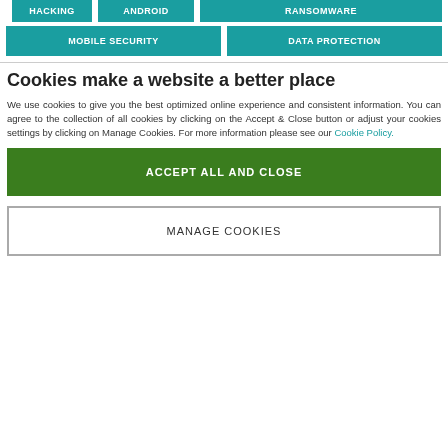HACKING
ANDROID
RANSOMWARE
MOBILE SECURITY
DATA PROTECTION
Cookies make a website a better place
We use cookies to give you the best optimized online experience and consistent information. You can agree to the collection of all cookies by clicking on the Accept & Close button or adjust your cookies settings by clicking on Manage Cookies. For more information please see our Cookie Policy.
ACCEPT ALL AND CLOSE
MANAGE COOKIES